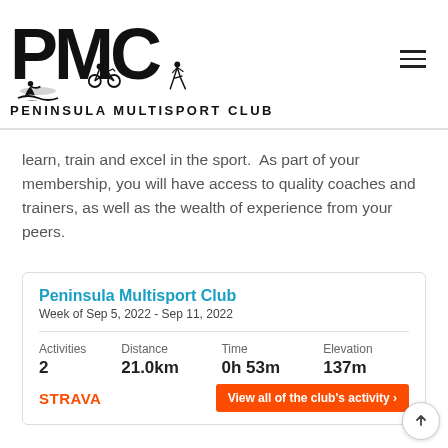[Figure (logo): Peninsula Multisport Club logo with stylized PMC letters and triathlon athlete silhouettes (swimmer, cyclist, runner), with text PENINSULA MULTISPORT CLUB below]
learn, train and excel in the sport.  As part of your membership, you will have access to quality coaches and trainers, as well as the wealth of experience from your peers.
| Activities | Distance | Time | Elevation |
| --- | --- | --- | --- |
| 2 | 21.0km | 0h 53m | 137m |
Peninsula Multisport Club
Week of Sep 5, 2022 - Sep 11, 2022